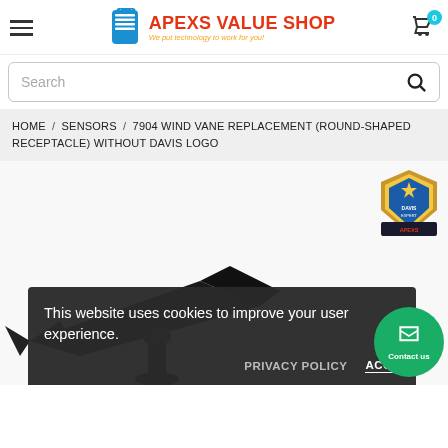[Figure (logo): Apexs Value Shop logo with shopping bag icon in blue, red text 'APEXS VALUE SHOP', orange italic tagline 'We put technology to work for you!']
Search
HOME / SENSORS / 7904 WIND VANE REPLACEMENT (ROUND-SHAPED RECEPTACLE) WITHOUT DAVIS LOGO
[Figure (photo): Product photo of a wind vane (black arrowhead/blade on stand) against white background, with a gold/blue Davis Certified Dealer badge in the top right corner]
This website uses cookies to improve your user experience.
PRIVACY POLICY   ACCEPT